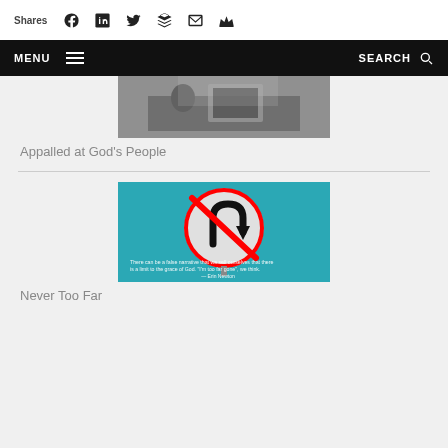Shares | Social share icons (Facebook, LinkedIn, Twitter, Buffer, Email, Crown)
MENU | SEARCH navigation bar
[Figure (photo): Black and white photo of a person at a laptop computer]
Appalled at God's People
[Figure (photo): Teal background with a no U-turn road sign and quote: 'There can be a false narrative that we sell ourselves that there is a limit to the grace of God. "I'm too far gone", we think. — Erin Newton']
Never Too Far